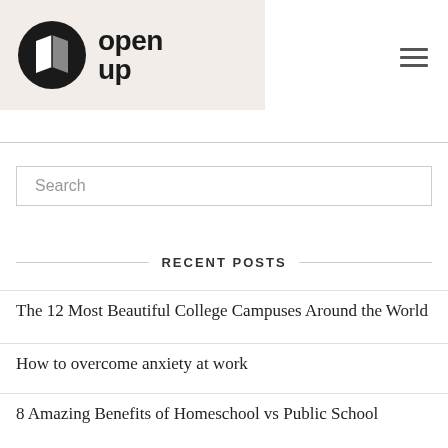[Figure (logo): Open Up logo: black circle with open book icon, bold sans-serif text 'open up' on beige background]
Search
RECENT POSTS
The 12 Most Beautiful College Campuses Around the World
How to overcome anxiety at work
8 Amazing Benefits of Homeschool vs Public School